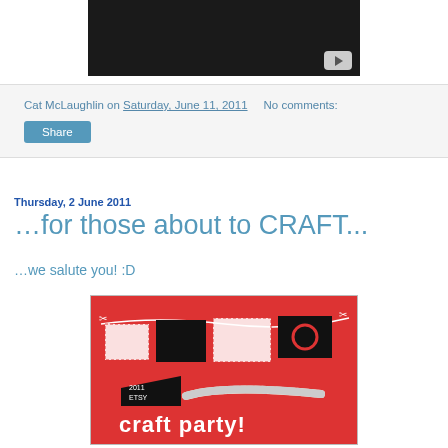[Figure (screenshot): YouTube video player thumbnail, dark/black background with YouTube play button in bottom right corner]
Cat McLaughlin on Saturday, June 11, 2011   No comments:
Share
Thursday, 2 June 2011
…for those about to CRAFT...
…we salute you! :D
[Figure (illustration): Red craft party poster with paper cut banner decorations and text reading '2011 ETSY craft party!' with a measuring tape graphic]